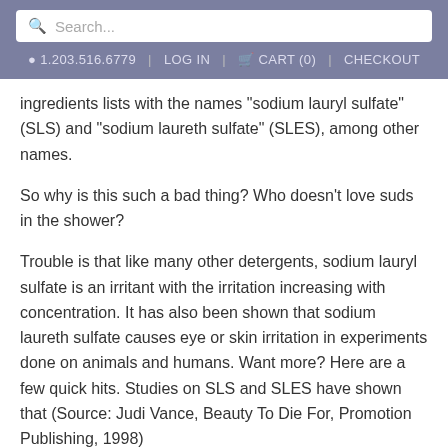Search... | 1.203.516.6779 | LOG IN | CART (0) | CHECKOUT
ingredients lists with the names "sodium lauryl sulfate" (SLS) and "sodium laureth sulfate" (SLES), among other names.
So why is this such a bad thing? Who doesn't love suds in the shower?
Trouble is that like many other detergents, sodium lauryl sulfate is an irritant with the irritation increasing with concentration. It has also been shown that sodium laureth sulfate causes eye or skin irritation in experiments done on animals and humans. Want more? Here are a few quick hits. Studies on SLS and SLES have shown that (Source: Judi Vance, Beauty To Die For, Promotion Publishing, 1998)
1. "Shampoos with SLS could retard healing and keep